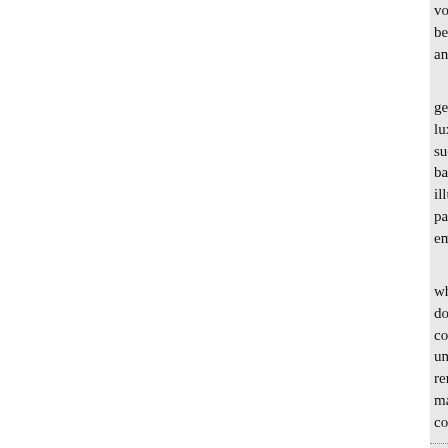volume. We regard the seconda because of the great difficulty of and legal institutions.

"II. The second volume is dev genetic and evolutionary bearing luxuriance of writing on matters such well-known authorities as M based on a general view of the w illustrate the proposition. The stu particular period or a particular p emphasize is left in the backgrou

“We have preferred generaliza whom this subject is a new one, doubted whether a sufficient ame collation of facts from which to g universal validity. Until a body o remain an inchoate science. The may reasonably be hoped, when comparable results will have bee
* As illustrative of what may institutions, see “Nursery and S University), Vol. XXII, No. 2, p
“It is precisely here as think